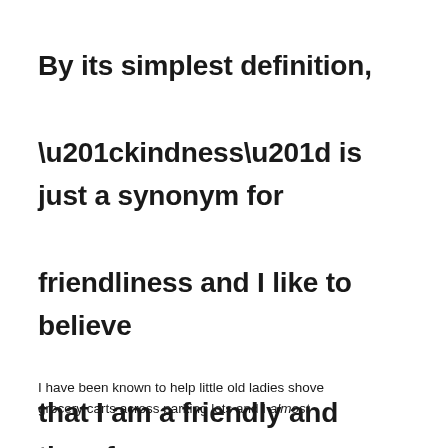By its simplest definition, “kindness” is just a synonym for friendliness and I like to believe that I am a friendly and therefore “kind” person (also funny, lovable, uber-smart and modest).
I have been known to help little old ladies shove grocery carts across parking lots and I almost